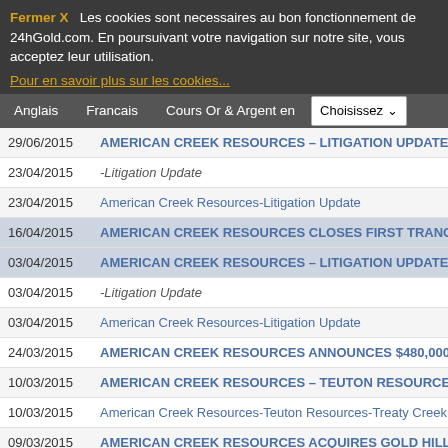Fermer X   Les cookies sont necessaires au bon fonctionnement de 24hGold.com. En poursuivant votre navigation sur notre site, vous acceptez leur utilisation.
Pour en savoir plus sur les cookies...
Anglais | Francais | Cours Or & Argent en | Choisissez
| Date | Title |
| --- | --- |
| 29/06/2015 | AMERICAN CREEK RESOURCES – LITIGATION UPDATE |
| 23/04/2015 | -Litigation Update |
| 23/04/2015 | American Creek Resources-Litigation Update |
| 16/04/2015 | AMERICAN CREEK RESOURCES CLOSES FIRST TRANCHE OF FINANC... |
| 03/04/2015 | AMERICAN CREEK RESOURCES – LITIGATION UPDATE |
| 03/04/2015 | -Litigation Update |
| 03/04/2015 | American Creek Resources-Litigation Update |
| 24/03/2015 | AMERICAN CREEK RESOURCES ANNOUNCES $480,000 FINANCING |
| 10/03/2015 | AMERICAN CREEK RESOURCES – TEUTON RESOURCES - TREATY CR... |
| 10/03/2015 | American Creek Resources-Teuton Resources-Treaty Creek Litig... |
| 09/03/2015 | AMERICAN CREEK RESOURCES ACQUIRES GOLD HILL AND D1-MCBR... |
| 02/02/2015 | American Creek Litigation Update-Teuton Resources Corp. Deni... |
| 26/01/2015 | American Creek Commences Judgement Enforcement Against Teuto... |
| 26/01/2015 | American Creek Commences Judgement Enforcement Against Teuto... |
| 12/01/2015 | AMERICAN CREEK PROVIDES UPDATE ON TEUTON RESOURCES COR... |
| 09/01/2015 | American Creek Provides Update on Teuton Resources Corp.-Tre... |